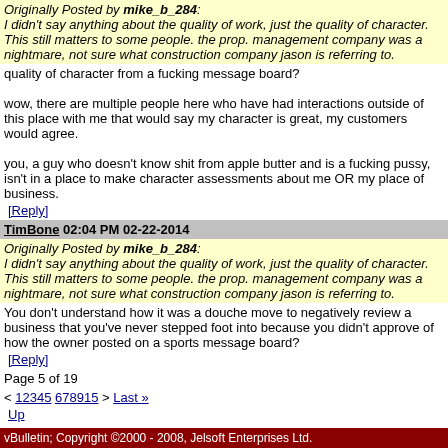Originally Posted by mike_b_284:
I didn't say anything about the quality of work, just the quality of character. This still matters to some people. the prop. management company was a nightmare, not sure what construction company jason is referring to.
quality of character from a fucking message board?

wow, there are multiple people here who have had interactions outside of this place with me that would say my character is great, my customers would agree.

you, a guy who doesn't know shit from apple butter and is a fucking pussy, isn't in a place to make character assessments about me OR my place of business.
[Reply]
TimBone 02:04 PM 02-22-2014
Originally Posted by mike_b_284:
I didn't say anything about the quality of work, just the quality of character. This still matters to some people. the prop. management company was a nightmare, not sure what construction company jason is referring to.
You don't understand how it was a douche move to negatively review a business that you've never stepped foot into because you didn't approve of how the owner posted on a sports message board?
[Reply]
Page 5 of 19
< 12345 678915 > Last »
Up
User Name  [input]  Password  [input]  [checkbox]  Log in
vBulletin; Copyright ©2000 - 2008, Jelsoft Enterprises Ltd.